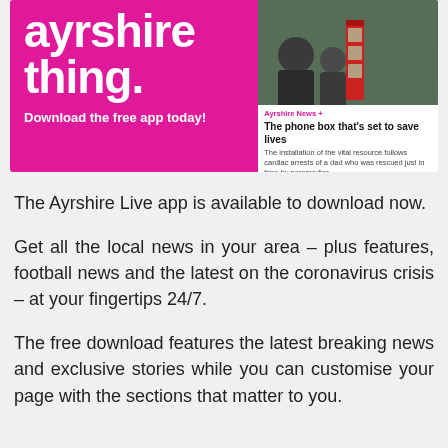[Figure (screenshot): Ayrshire Live app promotional banner with pink/magenta background showing large white text 'ayrshire thing.' and 'Download the free app today!' on the left, and a phone/app screenshot with a news article preview 'The phone box that's set to save lives' on the right]
The Ayrshire Live app is available to download now.
Get all the local news in your area – plus features, football news and the latest on the coronavirus crisis – at your fingertips 24/7.
The free download features the latest breaking news and exclusive stories while you can customise your page with the sections that matter to you.